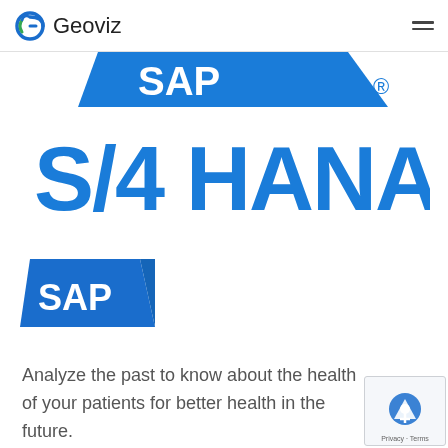Geoviz
[Figure (logo): SAP S/4 HANA logo — large blue stylized SAP flag shape at top partially cropped, with large blue bold text 'S/4 HANA' below it and a registered trademark symbol]
[Figure (logo): SAP logo — blue parallelogram/flag shape with white bold text 'SAP']
Analyze the past to know about the health of your patients for better health in the future.